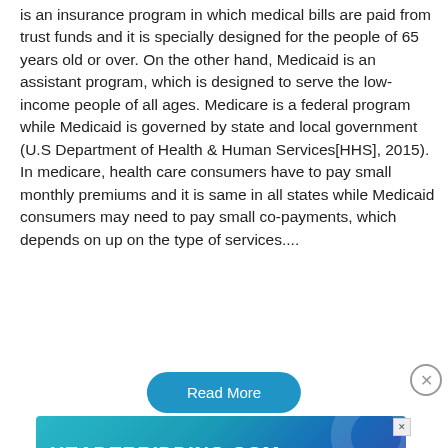is an insurance program in which medical bills are paid from trust funds and it is specially designed for the people of 65 years old or over. On the other hand, Medicaid is an assistant program, which is designed to serve the low-income people of all ages. Medicare is a federal program while Medicaid is governed by state and local government (U.S Department of Health & Human Services[HHS], 2015). In medicare, health care consumers have to pay small monthly premiums and it is same in all states while Medicaid consumers may need to pay small co-payments, which depends on up on the type of services....
[Figure (other): Read More button - teal rounded rectangle button with white text]
[Figure (other): Close button - circular X button on right side]
[Figure (other): Advertisement banner for HEADERBIDDING.COM - Your source for all things programmatic advertising. Teal/blue gradient background with decorative circular elements.]